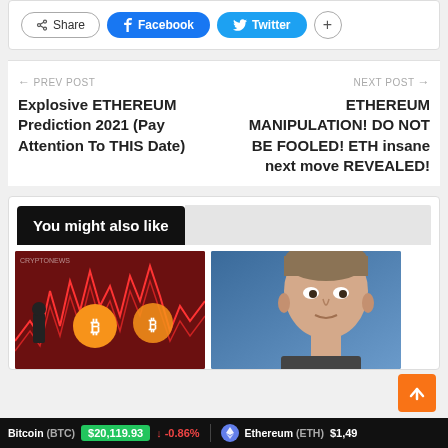[Figure (screenshot): Social share bar with Share, Facebook, Twitter, and + buttons]
← PREV POST
Explosive ETHEREUM Prediction 2021 (Pay Attention To THIS Date)
NEXT POST →
ETHEREUM MANIPULATION! DO NOT BE FOOLED! ETH insane next move REVEALED!
You might also like
[Figure (photo): Thumbnail of crypto chart with Bitcoin symbol and red background]
[Figure (photo): Thumbnail of Elon Musk face close-up]
Bitcoin (BTC)  $20,119.93  ↓ -0.86%    Ethereum (ETH)  $1,49...